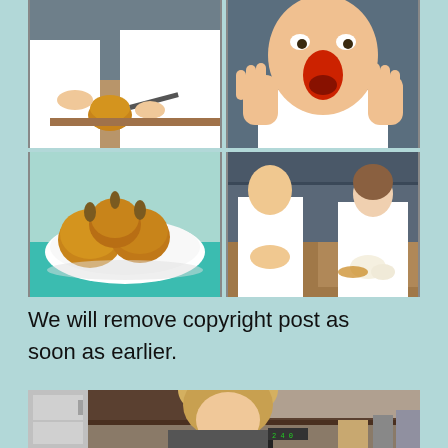[Figure (photo): Collage of four photos showing people cutting onions in a kitchen and a bowl of onions]
We will remove copyright post as soon as earlier.
[Figure (photo): Woman in kitchen with refrigerator, appearing to react to cutting onions]